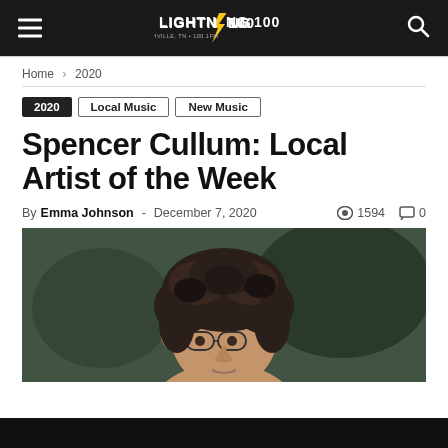LIGHTNING 100 - Nashville, TN - 100.1FM
Home › 2020
2020
Local Music
New Music
Spencer Cullum: Local Artist of the Week
By Emma Johnson - December 7, 2020   1594   0
[Figure (photo): Close-up portrait photo of Spencer Cullum, a person with curly dark hair and round glasses, photographed against a dark green background.]